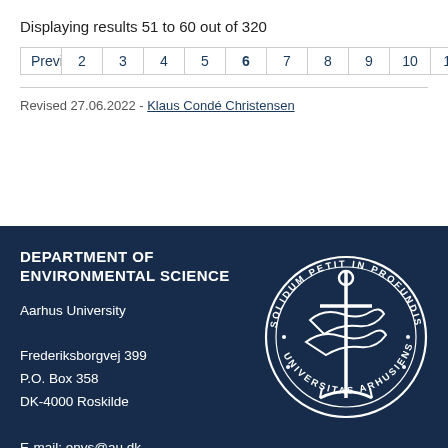Displaying results 51 to 60 out of 320
Previous 2 3 4 5 6 7 8 9 10 11 Next
Revised 27.06.2022 - Klaus Condé Christensen
DEPARTMENT OF ENVIRONMENTAL SCIENCE
Aarhus University
Frederiksborgvej 399
P.O. Box 358
DK-4000 Roskilde
E-mail: envs@au.dk
[Figure (logo): Aarhus University circular seal/logo with anchor and dolphins, text: SOLIDUM PETIT IN PROFUNDIS UNIVERSITAS ARHUSIENSIS]